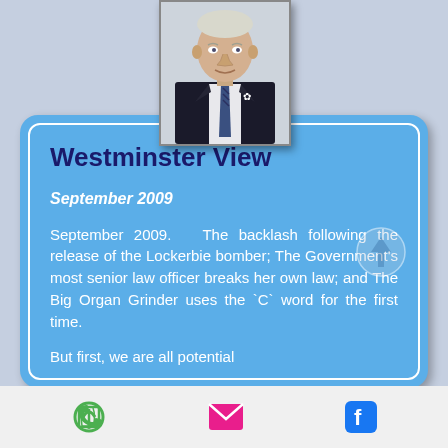[Figure (photo): Portrait photo of an elderly man in a dark suit with a striped tie and white ribbon pin, against a light background]
Westminster View
September 2009
September 2009.  The backlash following the release of the Lockerbie bomber; The Government's most senior law officer breaks her own law; and The Big Organ Grinder uses the `C` word for the first time.
But first, we are all potential